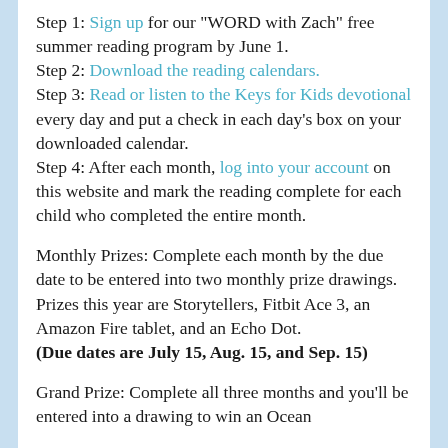Step 1: Sign up for our "WORD with Zach" free summer reading program by June 1. Step 2: Download the reading calendars. Step 3: Read or listen to the Keys for Kids devotional every day and put a check in each day's box on your downloaded calendar. Step 4: After each month, log into your account on this website and mark the reading complete for each child who completed the entire month.
Monthly Prizes: Complete each month by the due date to be entered into two monthly prize drawings. Prizes this year are Storytellers, Fitbit Ace 3, an Amazon Fire tablet, and an Echo Dot. (Due dates are July 15, Aug. 15, and Sep. 15)
Grand Prize: Complete all three months and you'll be entered into a drawing to win an Ocean